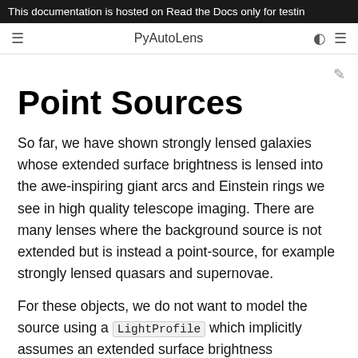This documentation is hosted on Read the Docs only for testing
PyAutoLens
Point Sources
So far, we have shown strongly lensed galaxies whose extended surface brightness is lensed into the awe-inspiring giant arcs and Einstein rings we see in high quality telescope imaging. There are many lenses where the background source is not extended but is instead a point-source, for example strongly lensed quasars and supernovae.
For these objects, we do not want to model the source using a LightProfile which implicitly assumes an extended surface brightness distribution. Instead, we assume that our source is a point source with a centre